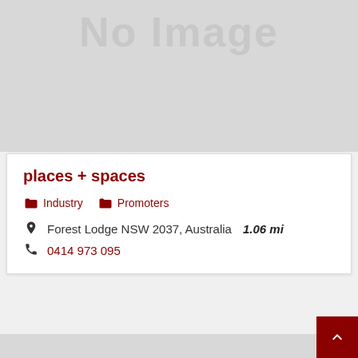[Figure (other): No image placeholder — large light gray box with 'No Image' text in slightly darker gray]
places + spaces
Industry   Promoters
Forest Lodge NSW 2037, Australia   1.06 mi
0414 973 095
[Figure (other): Gray placeholder area at the bottom of the page with a dark red back-to-top arrow button in the bottom-right corner]